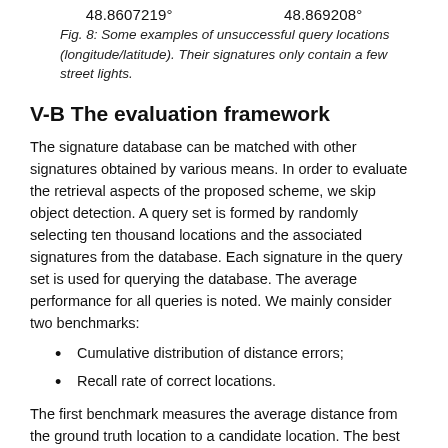48.8607219°    48.869208°
Fig. 8: Some examples of unsuccessful query locations (longitude/latitude). Their signatures only contain a few street lights.
V-B The evaluation framework
The signature database can be matched with other signatures obtained by various means. In order to evaluate the retrieval aspects of the proposed scheme, we skip object detection. A query set is formed by randomly selecting ten thousand locations and the associated signatures from the database. Each signature in the query set is used for querying the database. The average performance for all queries is noted. We mainly consider two benchmarks:
Cumulative distribution of distance errors;
Recall rate of correct locations.
The first benchmark measures the average distance from the ground truth location to a candidate location. The best